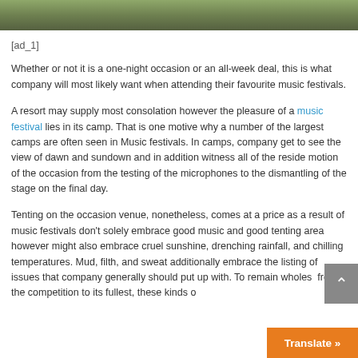[Figure (photo): Outdoor nature/festival scene photo strip at top of page]
[ad_1]
Whether or not it is a one-night occasion or an all-week deal, this is what company will most likely want when attending their favourite music festivals.
A resort may supply most consolation however the pleasure of a music festival lies in its camp. That is one motive why a number of the largest camps are often seen in Music festivals. In camps, company get to see the view of dawn and sundown and in addition witness all of the reside motion of the occasion from the testing of the microphones to the dismantling of the stage on the final day.
Tenting on the occasion venue, nonetheless, comes at a price as a result of music festivals don't solely embrace good music and good tenting area however might also embrace cruel sunshine, drenching rainfall, and chilling temperatures. Mud, filth, and sweat additionally embrace the listing of issues that company generally should put up with. To remain wholes from the competition to its fullest, these kinds o